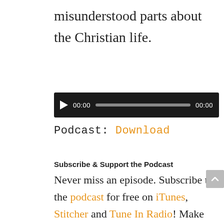misunderstood parts about the Christian life.
[Figure (other): Audio player with play button, 00:00 timestamp, progress bar, and 00:00 end time on dark background]
Podcast: Download
Subscribe & Support the Podcast
Never miss an episode. Subscribe to the podcast for free on iTunes, Stitcher and Tune In Radio! Make